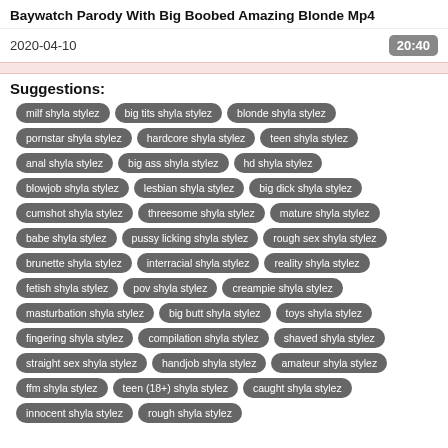Baywatch Parody With Big Boobed Amazing Blonde Mp4
2020-04-10
20:40
Suggestions:
milf shyla stylez
big tits shyla stylez
blonde shyla stylez
pornstar shyla stylez
hardcore shyla stylez
teen shyla stylez
anal shyla stylez
big ass shyla stylez
hd shyla stylez
blowjob shyla stylez
lesbian shyla stylez
big dick shyla stylez
cumshot shyla stylez
threesome shyla stylez
mature shyla stylez
babe shyla stylez
pussy licking shyla stylez
rough sex shyla stylez
brunette shyla stylez
interracial shyla stylez
reality shyla stylez
fetish shyla stylez
pov shyla stylez
creampie shyla stylez
masturbation shyla stylez
big butt shyla stylez
toys shyla stylez
fingering shyla stylez
compilation shyla stylez
shaved shyla stylez
straight sex shyla stylez
handjob shyla stylez
amateur shyla stylez
ffm shyla stylez
teen (18+) shyla stylez
caught shyla stylez
innocent shyla stylez
rough shyla stylez